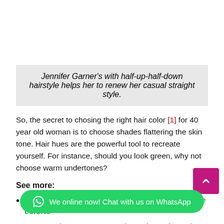Jennifer Garner's with half-up-half-down hairstyle helps her to renew her casual straight style.
So, the secret to chosing the right hair color [1] for 40 year old woman is to choose shades flattering the skin tone. Hair hues are the powerful tool to recreate yourself. For instance, should you look green, why not choose warm undertones?
See more:
What color covers orange hair: How to fix orange colorto
Ion Demi Permanent Hair Color Chart–the